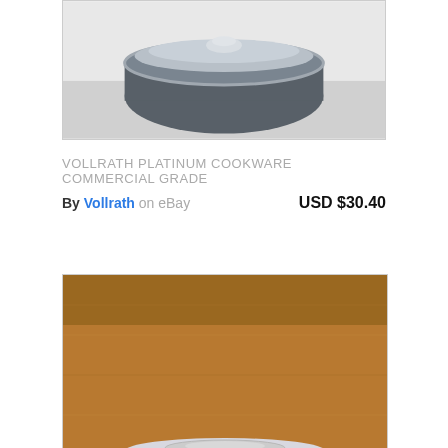[Figure (photo): Photo of Vollrath platinum cookware pot with lid, viewed from above at an angle, on a light surface]
VOLLRATH PLATINUM COOKWARE COMMERCIAL GRADE
By Vollrath on eBay   USD $30.40
[Figure (photo): Photo of a stainless steel frying pan with lid and black handle, on a wooden surface]
GOURMET BY VOLLRATH 3% MULTI-PLY